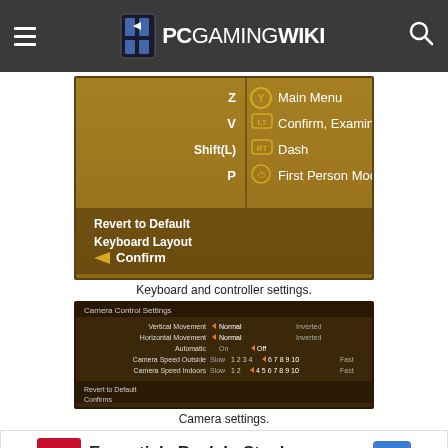PCGamingWiki
[Figure (screenshot): In-game keyboard and controller settings screen showing key bindings: Z - Main Menu, V - Confirm/Examine, Shift(L) - Dash, P - First Person Mode, with Revert to Default, Keyboard Layout, and Confirm options.]
Keyboard and controller settings.
[Figure (screenshot): Camera Control Settings screen showing Vertical Movement (Normal/Inverted), Horizontal Movement (Normal/Inverted), Automatic (On/Off), Camera Speed Outside, Camera Speed Indoors sliders, with Revert to Default and Confirms options.]
Camera settings.
[Figure (other): Walgreens advertisement: Essentials Back In Stock - Walgreens Photo]